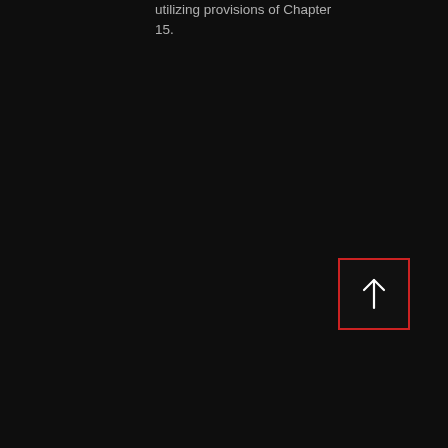utilizing provisions of Chapter 15.
[Figure (other): A scroll-to-top button: a dark square with a red border containing a white upward-pointing arrow icon, positioned in the lower-right area of the page.]